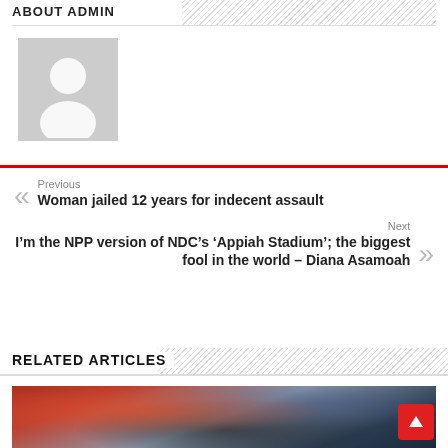ABOUT ADMIN
[Figure (illustration): Default avatar placeholder image: gray background with white silhouette of a person]
Previous
Woman jailed 12 years for indecent assault
Next
I'm the NPP version of NDC's 'Appiah Stadium'; the biggest fool in the world – Diana Asamoah
RELATED ARTICLES
[Figure (photo): Photo of people at a stadium/sports event, showing figures in a crowd with red and blue seating visible]